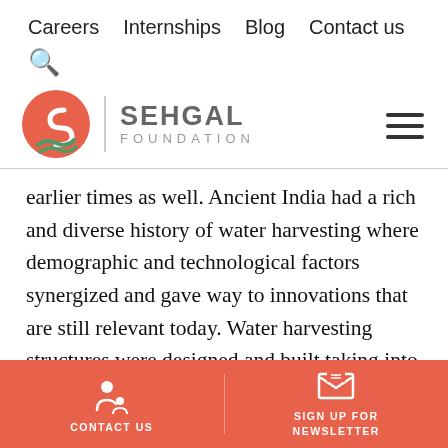Careers   Internships   Blog   Contact us
[Figure (logo): Sehgal Foundation logo with orange circle containing a white S shape and green wave, vertical divider, text SEHGAL FOUNDATION]
earlier times as well. Ancient India had a rich and diverse history of water harvesting where demographic and technological factors synergized and gave way to innovations that are still relevant today. Water harvesting structures were designed and built taking into consideration the ecology and diversity of the region. Our forefathers had insight on this subject as these
CONTACT US   SIGN UP FOR NEWSLETTER